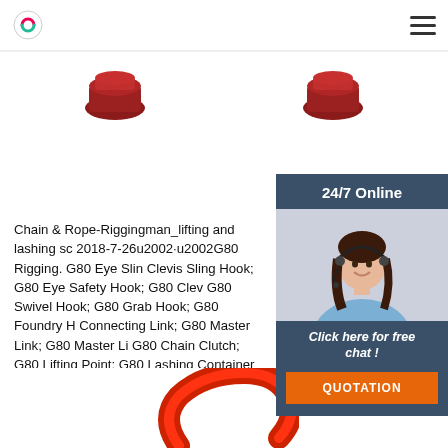Riggingman lifting and lashing solutions — navigation header
[Figure (photo): Two red industrial caps/plugs shown at top of page]
[Figure (photo): 24/7 Online chat widget with woman wearing headset, dark blue background, orange QUOTATION button]
Chain & Rope-Riggingman_lifting and lashing sc 2018-7-26u2002·u2002G80 Rigging. G80 Eye Slin Clevis Sling Hook; G80 Eye Safety Hook; G80 Clev G80 Swivel Hook; G80 Grab Hook; G80 Foundry H Connecting Link; G80 Master Link; G80 Master Li G80 Chain Clutch; G80 Lifting Point; G80 Lashing Container Fitting; Others; G100 Rigging. G100 Ey G100 ...
Get Price
[Figure (photo): Red metal ring/master link shown at bottom of page]